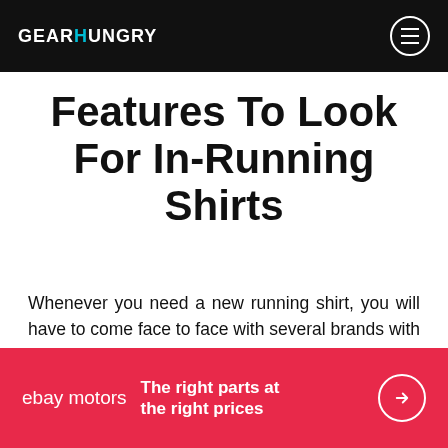GEARHUNGRY
Features To Look For In-Running Shirts
Whenever you need a new running shirt, you will have to come face to face with several brands with different specifications and loads of promises of what their shirts will offer. Having some background knowledge on the vital features to look out for in running shirts helps you make a more informed decision about your choice while ensurir
[Figure (other): eBay Motors advertisement banner with red background. Text reads: 'ebay motors — The right parts at the right prices' with a circular arrow button.]